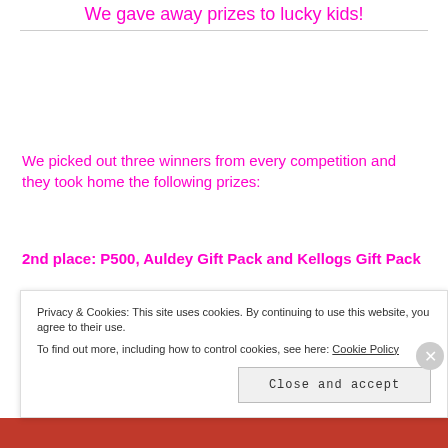We gave away prizes to lucky kids!
We picked out three winners from every competition and they took home the following prizes:
2nd place: P500, Auldey Gift Pack and Kellogs Gift Pack
1st place: P1000, Auldey Gift Pack and Kellogs Gift Pack
Privacy & Cookies: This site uses cookies. By continuing to use this website, you agree to their use. To find out more, including how to control cookies, see here: Cookie Policy